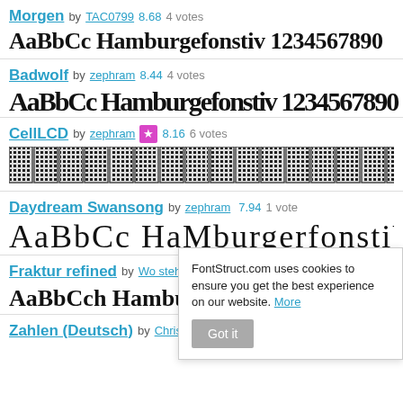Morgen by TAC0799 8.68 4 votes
[Figure (other): Font preview: AaBbCc Hamburgefontsiv 1234567890 in Morgen blackletter font]
Badwolf by zephram 8.44 4 votes
[Figure (other): Font preview: AaBbCc Hamburgefontsiv 1234567890 in Badwolf blackletter font]
CellLCD by zephram ★ 8.16 6 votes
[Figure (other): Font preview: AaBbCc Hamburgefontsiv in CellLCD dot-matrix style font]
Daydream Swansong by zephram 7.94 1 vote
[Figure (other): Font preview: AaBbCc Hamburgefontsiv in Daydream Swansong rounded font]
Fraktur refined by Wo steht d...
[Figure (other): Font preview: AaBbCch Hamburge... in Fraktur refined font]
Zahlen (Deutsch) by Christian Munk (CMunk) 8.80 4 votes
[Figure (screenshot): Cookie consent popup: FontStruct.com uses cookies to ensure you get the best experience on our website. More | Got it button]